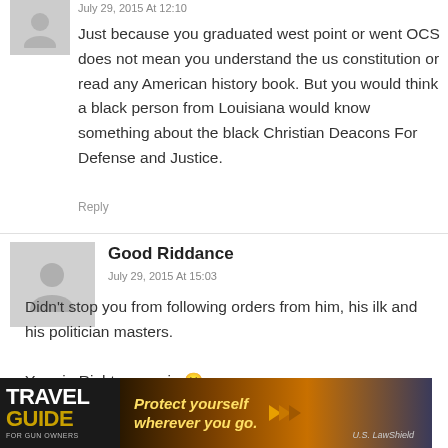July 29, 2015 At 12:10
Just because you graduated west point or went OCS does not mean you understand the us constitution or read any American history book. But you would think a black person from Louisiana would know something about the black Christian Deacons For Defense and Justice.
Reply
Good Riddance
July 29, 2015 At 15:03
Didn't stop you from following orders from him, his ilk and his politician masters.

Yes sir. Right away sir. 🙂
Reply
[Figure (illustration): Travel Guide for Gun Owners advertisement banner with 'Protect yourself wherever you go.' text and US LawShield branding]